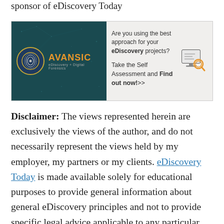sponsor of eDiscovery Today
[Figure (infographic): Avansic eDiscovery + Digital Forensics advertisement banner. Left side has dark teal background with Avansic logo (circular fingerprint icon in gold/blue) and brand name in orange. Right side has light gray background with text: 'Are you using the best approach for your eDiscovery projects? Take the Self Assessment and Find out now!>>' with a computer/magnifying glass icon.]
Disclaimer: The views represented herein are exclusively the views of the author, and do not necessarily represent the views held by my employer, my partners or my clients. eDiscovery Today is made available solely for educational purposes to provide general information about general eDiscovery principles and not to provide specific legal advice applicable to any particular